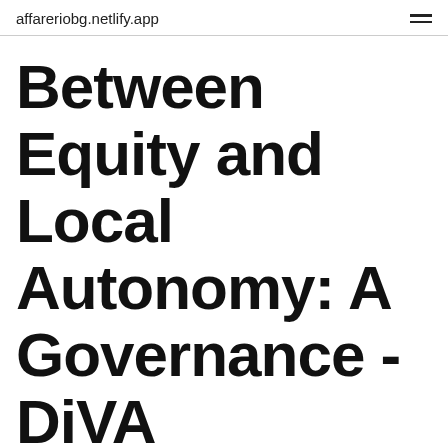affareriobg.netlify.app
Between Equity and Local Autonomy: A Governance - DiVA
——— ———  CAN A PERSON BE ILLEGAL? - Engaging
Please (3) make a name card or a flag to represent